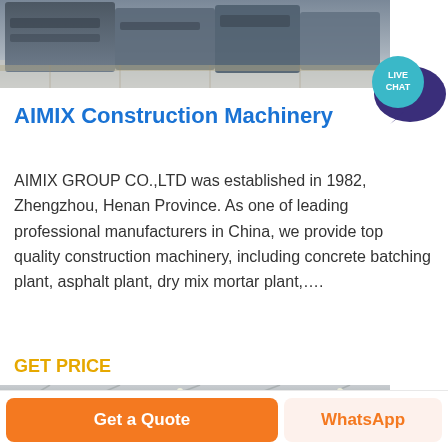[Figure (photo): Top portion of a photo showing heavy industrial construction machinery (crusher/sieve equipment) in a warehouse, gray metallic equipment on wooden pallets]
[Figure (illustration): Live chat bubble icon — dark purple speech bubble with teal circular badge reading 'LIVE CHAT' in white text]
AIMIX Construction Machinery
AIMIX GROUP CO.,LTD was established in 1982, Zhengzhou, Henan Province. As one of leading professional manufacturers in China, we provide top quality construction machinery, including concrete batching plant, asphalt plant, dry mix mortar plant,…
GET PRICE
[Figure (photo): Bottom portion of a photo showing industrial factory interior with steel roof structure and red/orange equipment]
Get a Quote
WhatsApp